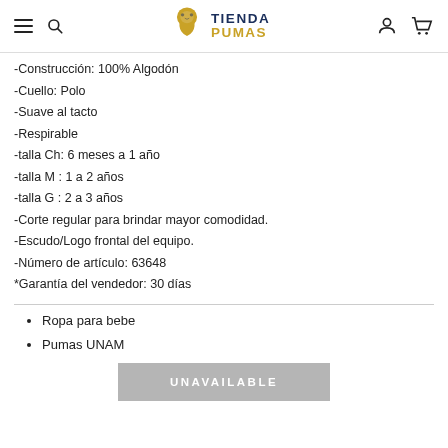Tienda Pumas — navigation header with logo, search, user, and cart icons
-Construcción: 100% Algodón
-Cuello: Polo
-Suave al tacto
-Respirable
-talla Ch: 6 meses a 1 año
-talla M : 1 a 2 años
-talla G : 2 a 3 años
-Corte regular para brindar mayor comodidad.
-Escudo/Logo frontal del equipo.
-Número de artículo: 63648
*Garantía del vendedor: 30 días
Ropa para bebe
Pumas UNAM
UNAVAILABLE